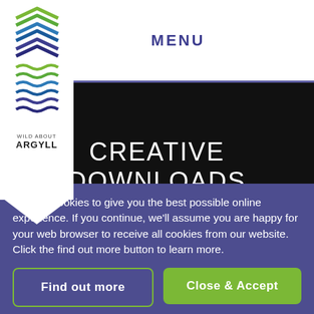[Figure (logo): Wild About Argyll logo with colorful chevron/wave pattern and text]
MENU
CREATIVE DOWNLOADS
We use cookies to give you the best possible online experience. If you continue, we'll assume you are happy for your web browser to receive all cookies from our website. Click the find out more button to learn more.
Find out more
Close & Accept